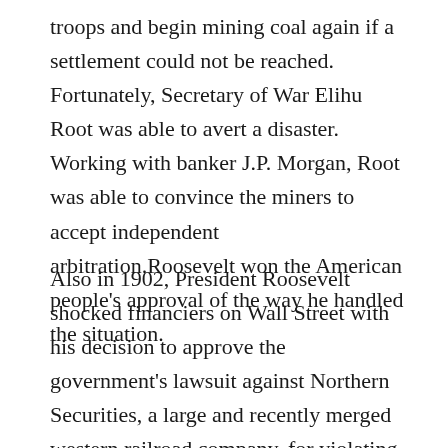troops and begin mining coal again if a settlement could not be reached. Fortunately, Secretary of War Elihu Root was able to avert a disaster. Working with banker J.P. Morgan, Root was able to convince the miners to accept independent arbitration.Roosevelt won the American people's approval of the way he handled the situation.
Also in 1902, President Roosevelt shocked financiers on Wall Street with his decision to approve the government's lawsuit against Northern Securities, a large and recently merged western railroad company, for violating the Sherman Anti-Trust Act. J.P. Morgan, the financier who had arranged the merger and who had significant amounts of money invested in Northern Securities, and Roosevelt his decision...